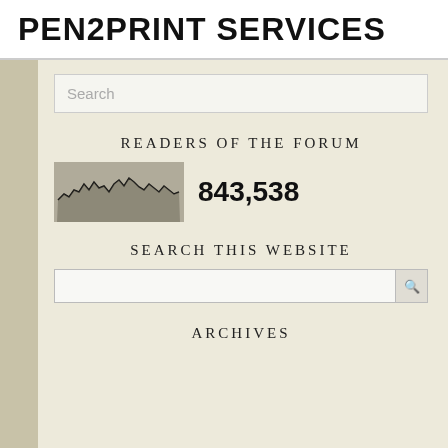PEN2PRINT SERVICES
Search
READERS OF THE FORUM
[Figure (continuous-plot): Small area/line sparkline chart showing reader activity over time]
843,538
SEARCH THIS WEBSITE
ARCHIVES